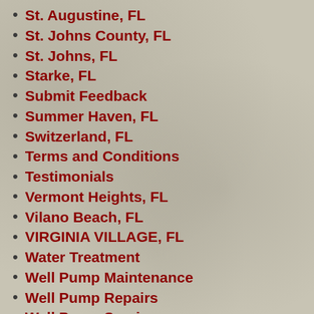St. Augustine, FL
St. Johns County, FL
St. Johns, FL
Starke, FL
Submit Feedback
Summer Haven, FL
Switzerland, FL
Terms and Conditions
Testimonials
Vermont Heights, FL
Vilano Beach, FL
VIRGINIA VILLAGE, FL
Water Treatment
Well Pump Maintenance
Well Pump Repairs
Well Pump Service
Well Repair Services